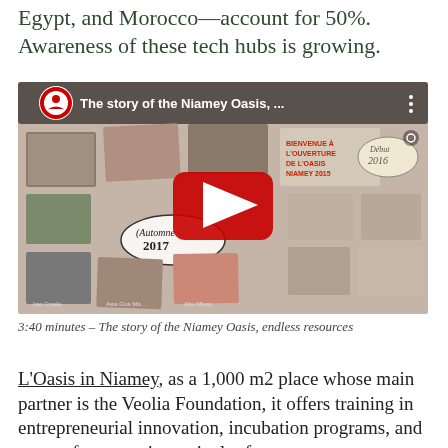Egypt, and Morocco—account for 50%. Awareness of these tech hubs is growing.
[Figure (screenshot): YouTube video thumbnail showing 'The story of the Niamey Oasis, ...' with a red play button in the center, a YouTube logo in the top left, and a collage of photos of people and events including text 'BIENVENUE À L'OUVERTURE DE L'OASIS NIAMEY 2015', 'Automne 2017', 'Début 2016']
3:40 minutes – The story of the Niamey Oasis, endless resources
L'Oasis in Niamey, as a 1,000 m2 place whose main partner is the Veolia Foundation, it offers training in entrepreneurial innovation, incubation programs, and spaces for rent – in particular for